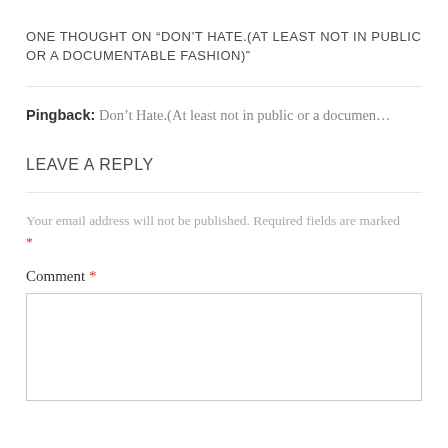ONE THOUGHT ON “DON’T HATE.(AT LEAST NOT IN PUBLIC OR A DOCUMENTABLE FASHION)”
Pingback: Don’t Hate.(At least not in public or a documen…
LEAVE A REPLY
Your email address will not be published. Required fields are marked *
Comment *